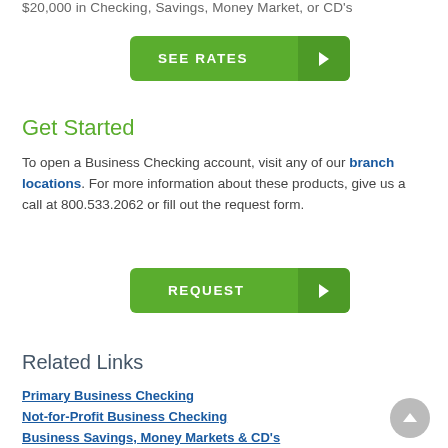$20,000 in Checking, Savings, Money Market, or CD's
[Figure (other): Green 'SEE RATES' button with arrow]
Get Started
To open a Business Checking account, visit any of our branch locations. For more information about these products, give us a call at 800.533.2062 or fill out the request form.
[Figure (other): Green 'REQUEST' button with arrow]
Related Links
Primary Business Checking
Not-for-Profit Business Checking
Business Savings, Money Markets & CD's